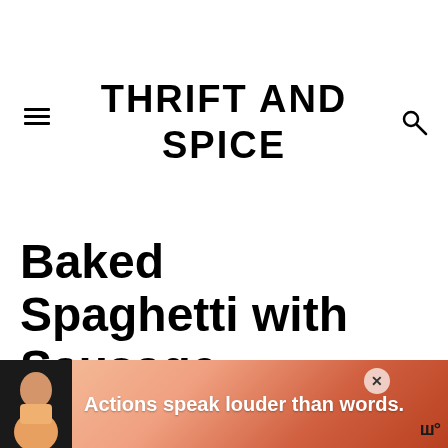THRIFT AND SPICE
Baked Spaghetti with Sausage
0 Comments
[Figure (infographic): Social share buttons: Pinterest, Facebook, Yummly, Twitter, Flipboard, Email, and a What's Next popup showing Mexican Spaghetti...]
Jump to Recipe   Print Recipe
[Figure (infographic): Advertisement banner: Actions speak louder than words.]